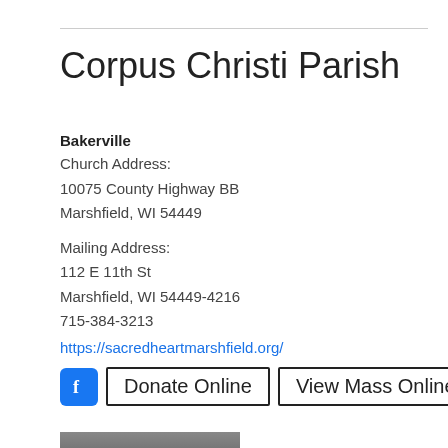Corpus Christi Parish
Bakerville
Church Address:
10075 County Highway BB
Marshfield, WI 54449

Mailing Address:
112 E 11th St
Marshfield, WI 54449-4216
715-384-3213
https://sacredheartmarshfield.org/
[Figure (other): Donate Online button and View Mass Online button with Facebook icon]
More information >>
[Figure (photo): Headshot photo of a person]